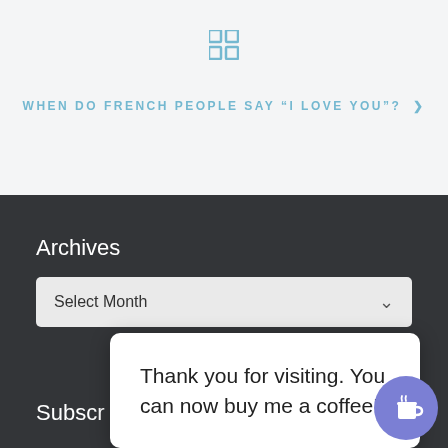[Figure (logo): Blue 4-square grid icon]
WHEN DO FRENCH PEOPLE SAY "I LOVE YOU"? >
Archives
Select Month
Thank you for visiting. You can now buy me a coffee!
Subscr
[Figure (illustration): Coffee cup icon button on purple circular background]